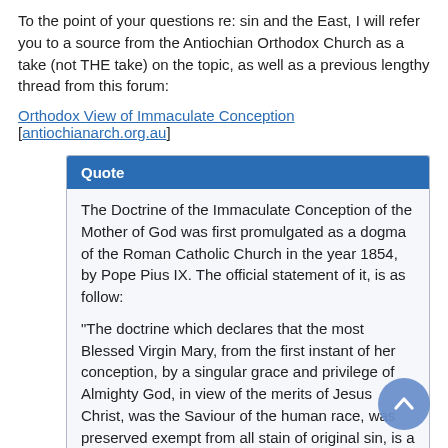To the point of your questions re: sin and the East, I will refer you to a source from the Antiochian Orthodox Church as a take (not THE take) on the topic, as well as a previous lengthy thread from this forum:
Orthodox View of Immaculate Conception [antiochianarch.org.au]
Quote
The Doctrine of the Immaculate Conception of the Mother of God was first promulgated as a dogma of the Roman Catholic Church in the year 1854, by Pope Pius IX. The official statement of it, is as follow:

"The doctrine which declares that the most Blessed Virgin Mary, from the first instant of her conception, by a singular grace and privilege of Almighty God, in view of the merits of Jesus Christ, was the Saviour of the human race, was preserved exempt from all stain of original sin, is a doctrine revealed by God and therefore must be believed firmly and constantly by all the faithful of the Roman Catholic Church."